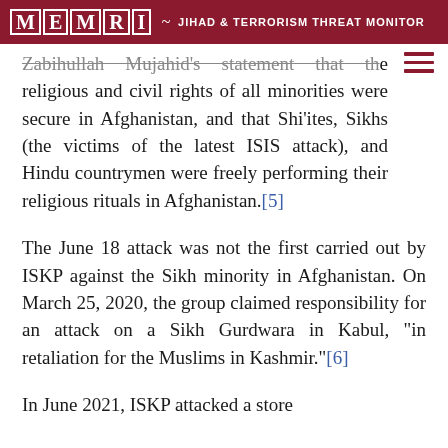MEMRI — JIHAD & TERRORISM THREAT MONITOR
Zabihullah Mujahid's statement that the religious and civil rights of all minorities were secure in Afghanistan, and that Shi'ites, Sikhs (the victims of the latest ISIS attack), and Hindu countrymen were freely performing their religious rituals in Afghanistan.[5]
The June 18 attack was not the first carried out by ISKP against the Sikh minority in Afghanistan. On March 25, 2020, the group claimed responsibility for an attack on a Sikh Gurdwara in Kabul, "in retaliation for the Muslims in Kashmir."[6]
In June 2021, ISKP attacked a store